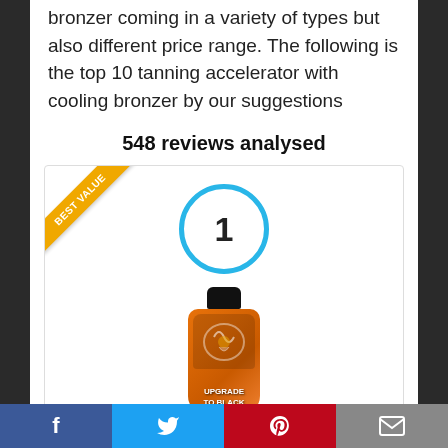bronzer coming in a variety of types but also different price range. The following is the top 10 tanning accelerator with cooling bronzer by our suggestions
548 reviews analysed
[Figure (other): Product card with 'Best Value' ribbon in top-left corner, a number '1' inside a blue circle at top center, and a bottle of 'Upgrade to Black' tanning product below]